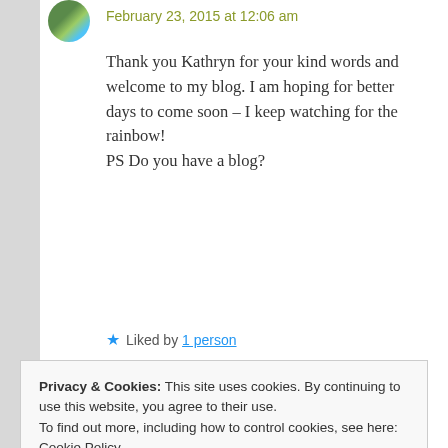[Figure (photo): Small circular avatar image showing a nature/landscape scene]
February 23, 2015 at 12:06 am
Thank you Kathryn for your kind words and welcome to my blog. I am hoping for better days to come soon – I keep watching for the rainbow!
PS Do you have a blog?
★ Liked by 1 person
Reply →
Privacy & Cookies: This site uses cookies. By continuing to use this website, you agree to their use.
To find out more, including how to control cookies, see here: Cookie Policy
Close and accept
a new post for The Sourdough